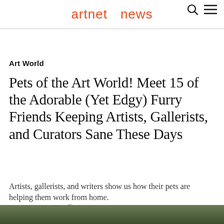artnet news
Art World
Pets of the Art World! Meet 15 of the Adorable (Yet Edgy) Furry Friends Keeping Artists, Gallerists, and Curators Sane These Days
Artists, gallerists, and writers show us how their pets are helping them work from home.
Artnet News, April 17, 2020
[Figure (photo): Green outdoor photo strip at bottom of page]